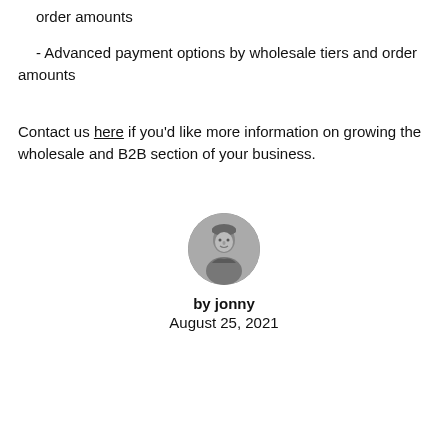order amounts
- Advanced payment options by wholesale tiers and order amounts
Contact us here if you'd like more information on growing the wholesale and B2B section of your business.
[Figure (photo): Circular avatar photo of a person (jonny) in black and white]
by jonny
August 25, 2021